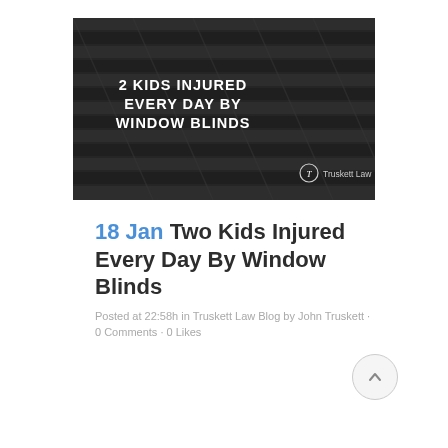[Figure (photo): Dark/grayscale photo of window blinds with bold white text overlay reading '2 KIDS INJURED EVERY DAY BY WINDOW BLINDS' and Truskett Law logo in bottom right]
18 Jan Two Kids Injured Every Day By Window Blinds
Posted at 22:58h in Truskett Law Blog by John Truskett · 0 Comments · 0 Likes